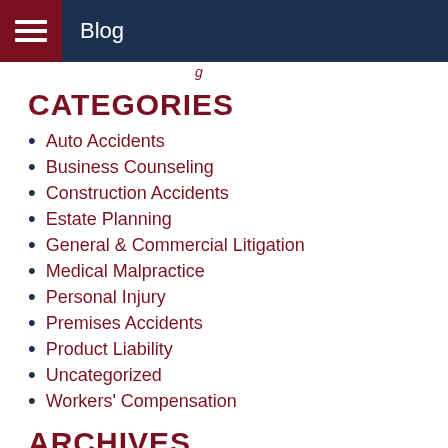Blog
g
CATEGORIES
Auto Accidents
Business Counseling
Construction Accidents
Estate Planning
General & Commercial Litigation
Medical Malpractice
Personal Injury
Premises Accidents
Product Liability
Uncategorized
Workers' Compensation
ARCHIVES
2022